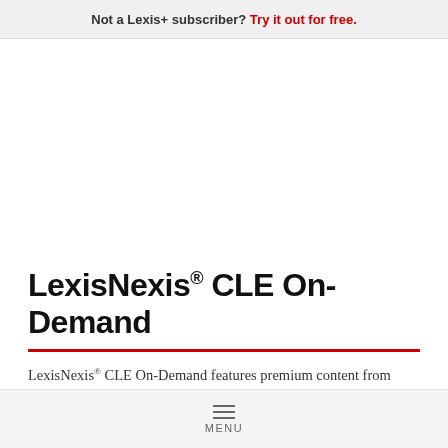Not a Lexis+ subscriber? Try it out for free.
LexisNexis® CLE On-Demand
LexisNexis® CLE On-Demand features premium content from partners like American Law Institute Continuing Legal Education and Pozner & Dodd. Choose from a broad listing of